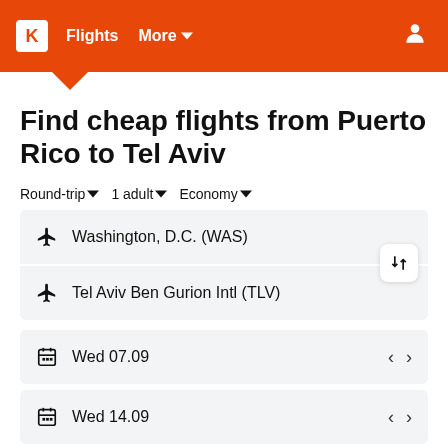K  Flights  More
Find cheap flights from Puerto Rico to Tel Aviv
Round-trip  1 adult  Economy
Washington, D.C. (WAS)
Tel Aviv Ben Gurion Intl (TLV)
Wed 07.09
Wed 14.09